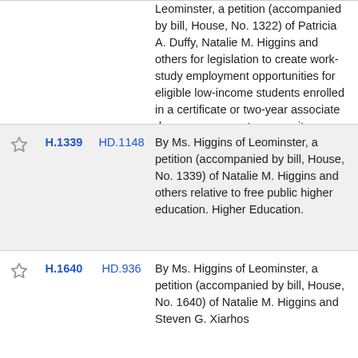Leominster, a petition (accompanied by bill, House, No. 1322) of Patricia A. Duffy, Natalie M. Higgins and others for legislation to create work-study employment opportunities for eligible low-income students enrolled in a certificate or two-year associate degree program at community colleges. Higher Education.
H.1339 HD.1148 By Ms. Higgins of Leominster, a petition (accompanied by bill, House, No. 1339) of Natalie M. Higgins and others relative to free public higher education. Higher Education.
H.1640 HD.936 By Ms. Higgins of Leominster, a petition (accompanied by bill, House, No. 1640) of Natalie M. Higgins and Steven G. Xiarhos